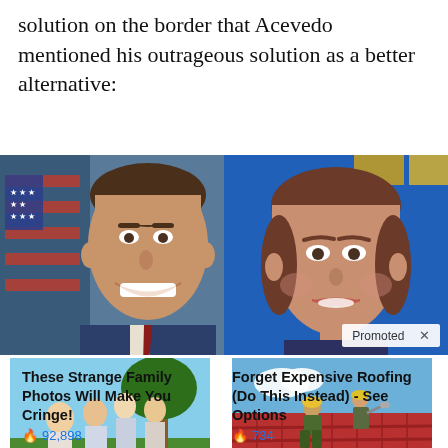solution on the border that Acevedo mentioned his outrageous solution as a better alternative:
[Figure (photo): Two side-by-side photos: left shows a smiling man in a suit with an American flag background; right shows a woman speaking at an event with a blue background. A 'Promoted X' badge appears on the right photo.]
[Figure (photo): Advertisement image: family group photo outdoors near a tree]
These Strange Family Photos Will Make You Cringe!
🔥 92,898
[Figure (photo): Advertisement image: workers on a red tiled roof]
Forget Expensive Roofing (Do This Instead) - See Options
🔥 734